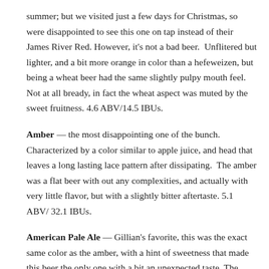summer; but we visited just a few days for Christmas, so were disappointed to see this one on tap instead of their James River Red. However, it's not a bad beer.  Unflitered but lighter, and a bit more orange in color than a hefeweizen, but being a wheat beer had the same slightly pulpy mouth feel.  Not at all bready, in fact the wheat aspect was muted by the sweet fruitness. 4.6 ABV/14.5 IBUs.
Amber — the most disappointing one of the bunch.  Characterized by a color similar to apple juice, and head that leaves a long lasting lace pattern after dissipating.  The amber was a flat beer with out any complexities, and actually with very little flavor, but with a slightly bitter aftertaste. 5.1 ABV/ 32.1 IBUs.
American Pale Ale — Gillian's favorite, this was the exact same color as the amber, with a hint of sweetness that made this beer the only one with a bit an unexpected taste. The flavor doesn't hit you upfront, but then there is the slight sting of hops and fermentation, followed by a slightly fruity clean finish. The hops were definitely the flavor that came through most prominently, which is anticipated with any pale ale, but they were not nearly as overwhelming or bitter